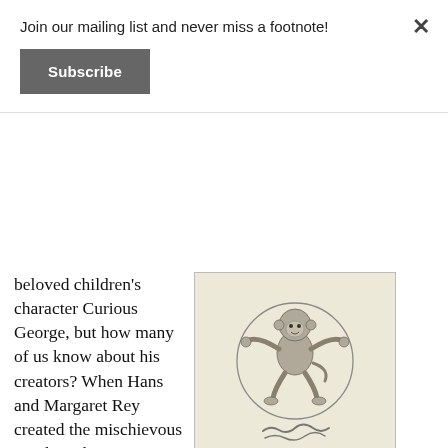Join our mailing list and never miss a footnote!
Subscribe
beloved children's character Curious George, but how many of us know about his creators? When Hans and Margaret Rey created the mischievous monkey, they were
[Figure (illustration): Pencil sketch of a small monkey jumping rope inside a circle, with a signature below]
German Jews living in Paris. As the Nazis swept through Europe, the dynamic pair escaped with their precious manuscript on a homemade bicycle.